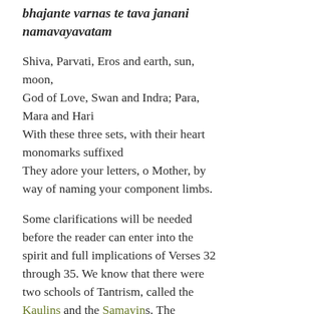bhajante varnas te tava janani namavayavatam
Shiva, Parvati, Eros and earth, sun, moon,
God of Love, Swan and Indra; Para, Mara and Hari
With these three sets, with their heart monomarks suffixed
They adore your letters, o Mother, by way of naming your component limbs.
Some clarifications will be needed before the reader can enter into the spirit and full implications of Verses 32 through 35. We know that there were two schools of Tantrism, called the Kaulins and the Samayins. The Kaulins were primarily interested in